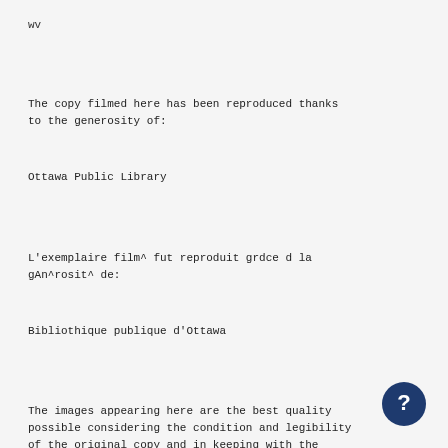wv
The copy filmed here has been reproduced thanks to the generosity of:
Ottawa Public Library
L'exemplaire film^ fut reproduit grdce d la gAn^rosit^ de:
Bibliothique publique d'Ottawa
The images appearing here are the best quality possible considering the condition and legibility of the original copy and in keeping with the filming contract specifications.